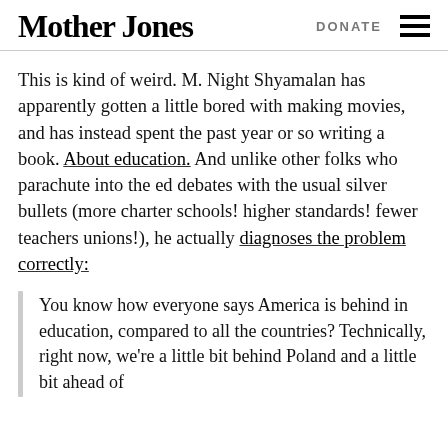Mother Jones | DONATE
This is kind of weird. M. Night Shyamalan has apparently gotten a little bored with making movies, and has instead spent the past year or so writing a book. About education. And unlike other folks who parachute into the ed debates with the usual silver bullets (more charter schools! higher standards! fewer teachers unions!), he actually diagnoses the problem correctly:
You know how everyone says America is behind in education, compared to all the countries? Technically, right now, we're a little bit behind Poland and a little bit ahead of